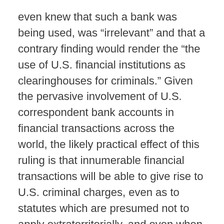even knew that such a bank was being used, was “irrelevant” and that a contrary finding would render the “the use of U.S. financial institutions as clearinghouses for criminals.” Given the pervasive involvement of U.S. correspondent bank accounts in financial transactions across the world, the likely practical effect of this ruling is that innumerable financial transactions will be able to give rise to U.S. criminal charges, even as to statutes which are presumed not to apply extraterritorially, and even when most of the conduct occurs abroad.
As we previously have blogged, the criminal money laundering statutes have been recognized as having extraterritorial application – based on explicit Congressional intent – and these statutes can so